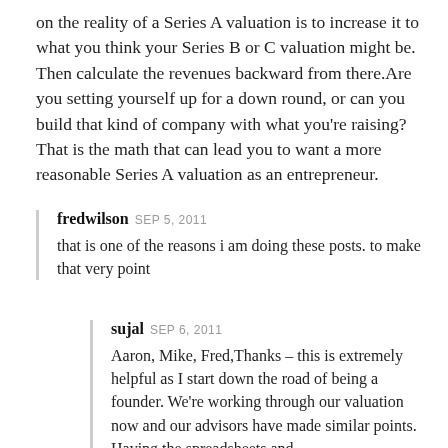on the reality of a Series A valuation is to increase it to what you think your Series B or C valuation might be. Then calculate the revenues backward from there.Are you setting yourself up for a down round, or can you build that kind of company with what you're raising? That is the math that can lead you to want a more reasonable Series A valuation as an entrepreneur.
fredwilson SEP 5, 2011
that is one of the reasons i am doing these posts. to make that very point
sujal SEP 6, 2011
Aaron, Mike, Fred,Thanks – this is extremely helpful as I start down the road of being a founder. We're working through our valuation now and our advisors have made similar points. Having the spreadsheets and